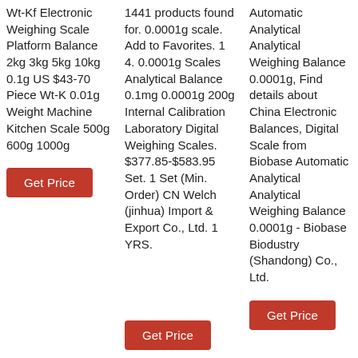Wt-Kf Electronic Weighing Scale Platform Balance 2kg 3kg 5kg 10kg 0.1g US $43-70 Piece Wt-K 0.01g Weight Machine Kitchen Scale 500g 600g 1000g
Get Price
1441 products found for. 0.0001g scale. Add to Favorites. 1 4. 0.0001g Scales Analytical Balance 0.1mg 0.0001g 200g Internal Calibration Laboratory Digital Weighing Scales. $377.85-$583.95 Set. 1 Set (Min. Order) CN Welch (jinhua) Import & Export Co., Ltd. 1 YRS.
Get Price
Automatic Analytical Analytical Weighing Balance 0.0001g, Find details about China Electronic Balances, Digital Scale from Biobase Automatic Analytical Analytical Weighing Balance 0.0001g - Biobase Biodustry (Shandong) Co., Ltd.
Get Price